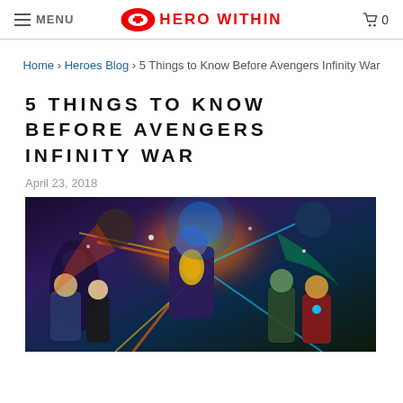MENU | HERO WITHIN | 0
Home › Heroes Blog › 5 Things to Know Before Avengers Infinity War
5 THINGS TO KNOW BEFORE AVENGERS INFINITY WAR
April 23, 2018
[Figure (photo): Promotional image for Avengers: Infinity War featuring multiple Marvel superheroes including Captain America, Iron Man, Thanos, and others against a colorful cosmic background.]